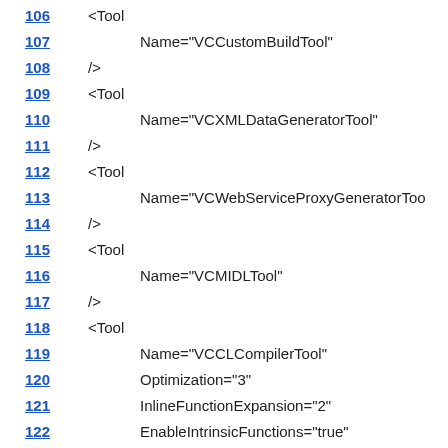106   <Tool
107       Name="VCCustomBuildTool"
108   />
109   <Tool
110       Name="VCXMLDataGeneratorTool"
111   />
112   <Tool
113       Name="VCWebServiceProxyGeneratorToo
114   />
115   <Tool
116       Name="VCMIDLTool"
117   />
118   <Tool
119       Name="VCCLCompilerTool"
120       Optimization="3"
121       InlineFunctionExpansion="2"
122       EnableIntrinsicFunctions="true"
123       FavorSizeOrSpeed="2"
124       OmitFramePointers="true"
125       EnableFiberSafeOptimizations="true"